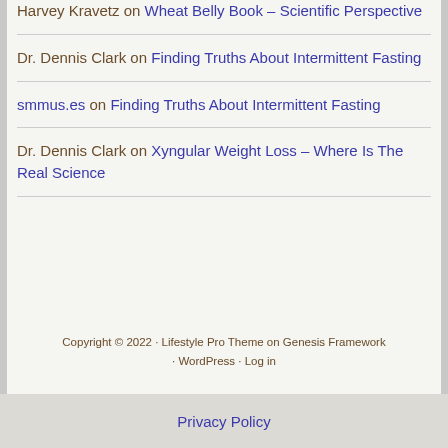Harvey Kravetz on Wheat Belly Book – Scientific Perspective
Dr. Dennis Clark on Finding Truths About Intermittent Fasting
smmus.es on Finding Truths About Intermittent Fasting
Dr. Dennis Clark on Xyngular Weight Loss – Where Is The Real Science
Copyright © 2022 · Lifestyle Pro Theme on Genesis Framework · WordPress · Log in
Privacy Policy